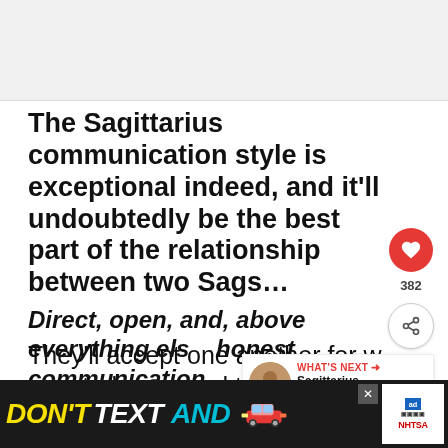[Figure (photo): Light gray placeholder area representing a top image banner on a webpage]
The Sagittarius communication style is exceptional indeed, and it'll undoubtedly be the best part of the relationship between two Sags…
Direct, open, and, above everything else, honest communication.
They'll accept one another for who they truly are, and that's another thing that
[Figure (screenshot): DON'T TEXT AND [car emoji] advertisement banner with ad choices and NHTSA logo]
[Figure (infographic): WHAT'S NEXT card showing Sagittarius And Pisces... with thumbnail image]